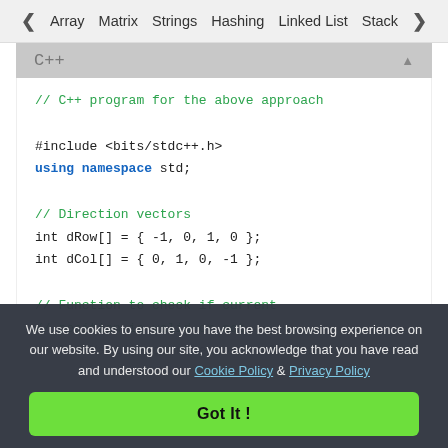< Array   Matrix   Strings   Hashing   Linked List   Stack >
C++
[Figure (screenshot): C++ code block showing: // C++ program for the above approach, #include <bits/stdc++.h>, using namespace std;, // Direction vectors, int dRow[] = { -1, 0, 1, 0 };, int dCol[] = { 0, 1, 0, -1 };, // Function to check if current, // position is valid or not, bool isValid(vector<vector<bool>> vis...]
We use cookies to ensure you have the best browsing experience on our website. By using our site, you acknowledge that you have read and understood our Cookie Policy & Privacy Policy
Got It !